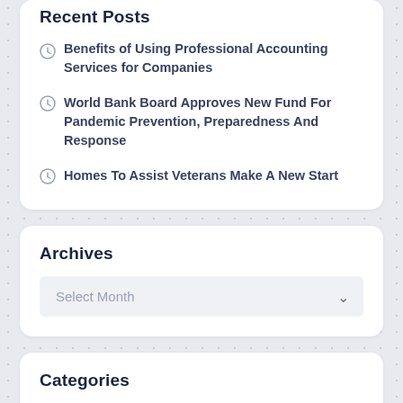Recent Posts
Benefits of Using Professional Accounting Services for Companies
World Bank Board Approves New Fund For Pandemic Prevention, Preparedness And Response
Homes To Assist Veterans Make A New Start
Archives
Select Month
Categories